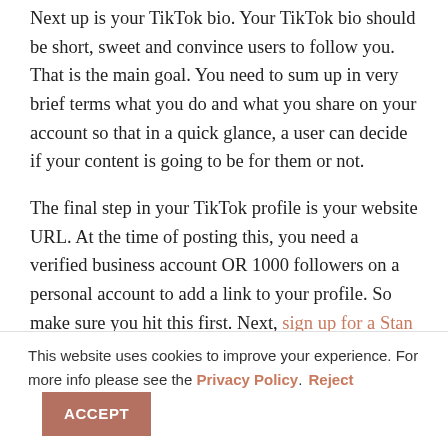Next up is your TikTok bio. Your TikTok bio should be short, sweet and convince users to follow you. That is the main goal. You need to sum up in very brief terms what you do and what you share on your account so that in a quick glance, a user can decide if your content is going to be for them or not.
The final step in your TikTok profile is your website URL. At the time of posting this, you need a verified business account OR 1000 followers on a personal account to add a link to your profile. So make sure you hit this first. Next, sign up for a Stan account where you can
This website uses cookies to improve your experience. For more info please see the Privacy Policy. Reject ACCEPT